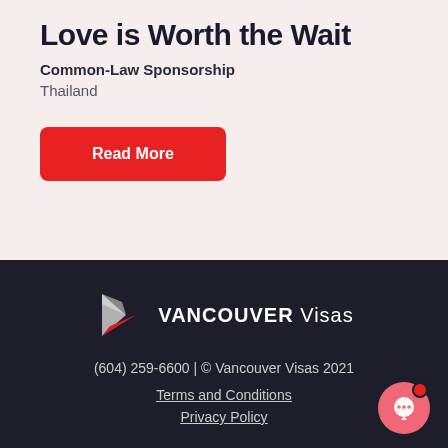Love is Worth the Wait
Common-Law Sponsorship
Thailand
Read More
[Figure (logo): Vancouver Visas logo with geometric paper-plane/arrow icon in grey and red, next to text 'VANCOUVER Visas' in white]
(604) 259-6600 | © Vancouver Visas 2021
Terms and Conditions
Privacy Policy